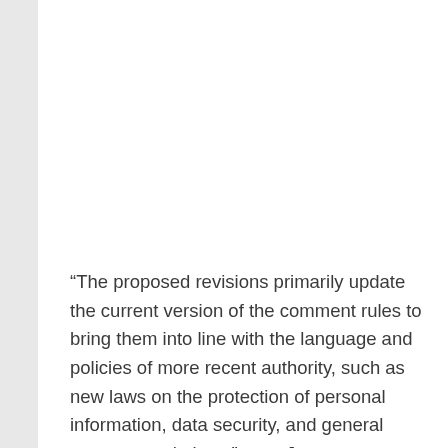“The proposed revisions primarily update the current version of the comment rules to bring them into line with the language and policies of more recent authority, such as new laws on the protection of personal information, data security, and general content regulations,” says Jeremy